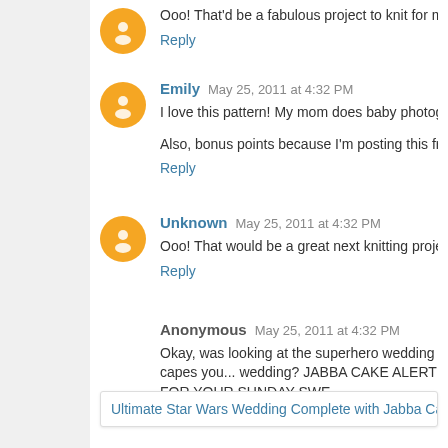Ooo! That'd be a fabulous project to knit for my baby girl! N
Reply
Emily May 25, 2011 at 4:32 PM
I love this pattern! My mom does baby photography and it w
Also, bonus points because I'm posting this from my Physic
Reply
Unknown May 25, 2011 at 4:32 PM
Ooo! That would be a great next knitting project for my baby
Reply
Anonymous May 25, 2011 at 4:32 PM
Okay, was looking at the superhero wedding capes you... wedding? JABBA CAKE ALERT FOR YOUR SUNDAY SWE
Ultimate Star Wars Wedding Complete with Jabba Ca